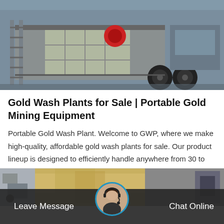[Figure (photo): Industrial gold wash plant / portable mining equipment machine on a flatbed, photographed in a facility with metal structures and large tires visible.]
Gold Wash Plants for Sale | Portable Gold Mining Equipment
Portable Gold Wash Plant. Welcome to GWP, where we make high-quality, affordable gold wash plants for sale. Our product lineup is designed to efficiently handle anywhere from 30 to 300 tons of…
Get Price
[Figure (photo): Partial view of another product card with thumbnail images of mining equipment and landscape.]
Leave Message
[Figure (photo): Customer service avatar — woman wearing headset microphone.]
Chat Online